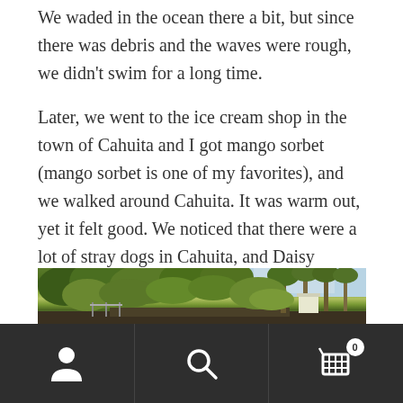We waded in the ocean there a bit, but since there was debris and the waves were rough, we didn't swim for a long time.
Later, we went to the ice cream shop in the town of Cahuita and I got mango sorbet (mango sorbet is one of my favorites), and we walked around Cahuita. It was warm out, yet it felt good. We noticed that there were a lot of stray dogs in Cahuita, and Daisy thought every one of them was cute.
[Figure (photo): Outdoor tropical scene showing lush green trees and vegetation with a light sky, likely in Cahuita, Costa Rica.]
Navigation bar with user icon, search icon, and cart icon with badge showing 0